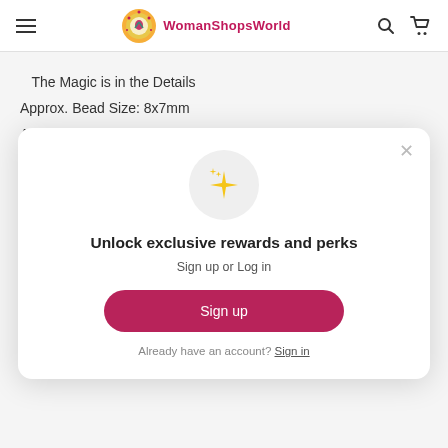WomanShopsWorld navigation header with hamburger menu, logo, search and cart icons
The Magic is in the Details
Approx. Bead Size: 8x7mm
Approx. Hole Size: 2mm
[Figure (screenshot): Modal popup with sparkle icon, title 'Unlock exclusive rewards and perks', subtitle 'Sign up or Log in', a Sign up button, and 'Already have an account? Sign in' link]
Unlock exclusive rewards and perks
Sign up or Log in
Sign up
Already have an account? Sign in